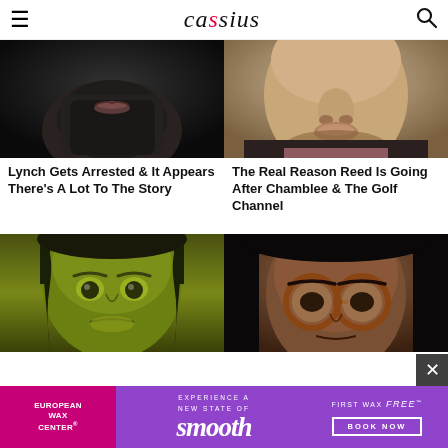cassius
[Figure (photo): Close-up photo of a man's face with beard - dark, moody]
Lynch Gets Arrested & It Appears There's A Lot To The Story
[Figure (photo): Close-up photo of a man's face - light skin, middle-aged]
The Real Reason Reed Is Going After Chamblee & The Golf Channel
[Figure (photo): She-Hulk character with green skin and dark hair]
[Figure (photo): Young Black woman with round glasses]
[Figure (other): Advertisement: European Wax Center - Experience a New State of Smooth, First Wax Free, Book Now]